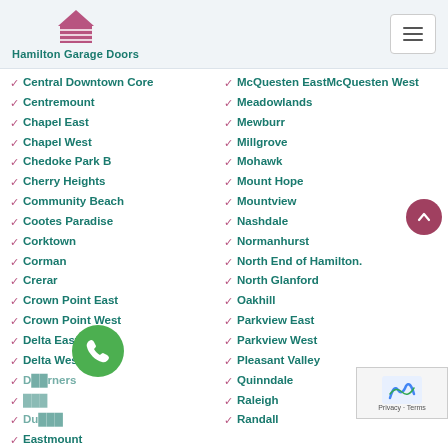Hamilton Garage Doors
Central Downtown Core
McQuesten EastMcQuesten West
Centremount
Meadowlands
Chapel East
Mewburr
Chapel West
Millgrove
Chedoke Park B
Mohawk
Cherry Heights
Mount Hope
Community Beach
Mountview
Cootes Paradise
Nashdale
Corktown
Normanhurst
Corman
North End of Hamilton.
Crerar
North Glanford
Crown Point East
Oakhill
Crown Point West
Parkview East
Delta East
Parkview West
Delta West
Pleasant Valley
D[obscured]rners
Quinndale
[obscured]
Raleigh
Du[obscured]
Randall
Eastmount